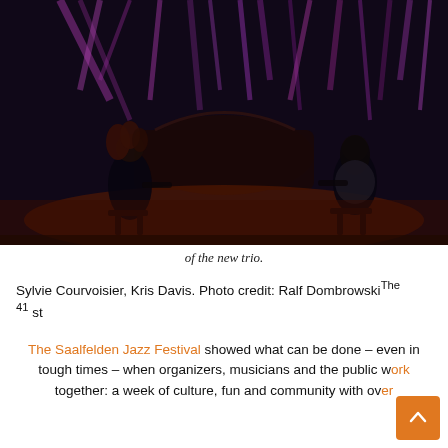[Figure (photo): Two pianists performing on stage at a jazz festival, facing each other at grand pianos. The stage is lit with purple and red lights forming geometric patterns in the background. Left pianist has curly red hair, right pianist is in a grey shirt.]
of the new trio.
Sylvie Courvoisier, Kris Davis. Photo credit: Ralf DombrowskiThe 41 st
The Saalfelden Jazz Festival showed what can be done – even in tough times – when organizers, musicians and the public work together: a week of culture, fun and community with over 10,000